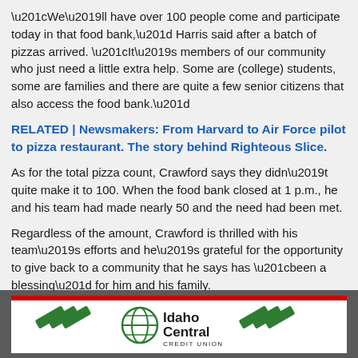“We’ll have over 100 people come and participate today in that food bank,” Harris said after a batch of pizzas arrived. “It’s members of our community who just need a little extra help. Some are (college) students, some are families and there are quite a few senior citizens that also access the food bank.”
RELATED | Newsmakers: From Harvard to Air Force pilot to pizza restaurant. The story behind Righteous Slice.
As for the total pizza count, Crawford says they didn’t quite make it to 100. When the food bank closed at 1 p.m., he and his team had made nearly 50 and the need had been met.
Regardless of the amount, Crawford is thrilled with his team’s efforts and he’s grateful for the opportunity to give back to a community that he says has “been a blessing” for him and his family.
[Figure (logo): Idaho Central Credit Union advertisement banner with green diagonal stripe logo marks and bold text reading Idaho Central Credit Union]